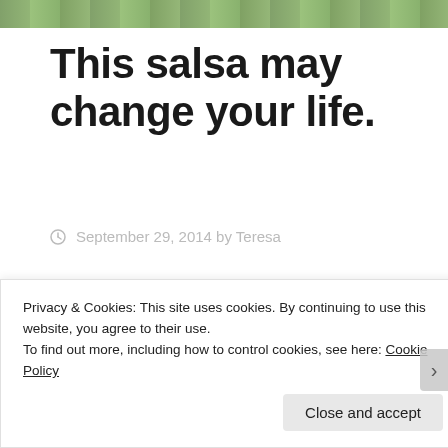[Figure (photo): Partial strip of food/salsa photo at top of page, showing green plant/herb colors]
This salsa may change your life.
September 29, 2014 by Teresa
A good simple salsa is certainly a staple for weekday meals and taco nights, and a must for healthy snacking and for spicing up meals. It is
Privacy & Cookies: This site uses cookies. By continuing to use this website, you agree to their use.
To find out more, including how to control cookies, see here: Cookie Policy
Close and accept